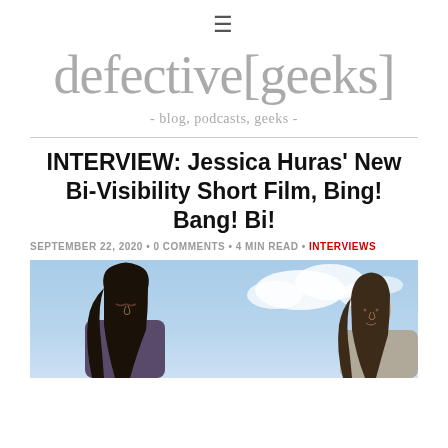≡
defective[geeks]
- blog, podcasts, geeks -
INTERVIEW: Jessica Huras' New Bi-Visibility Short Film, Bing! Bang! Bi!
SEPTEMBER 22, 2020 • 0 COMMENTS • 4 MIN READ • INTERVIEWS
[Figure (photo): Two women photographed from below against a blue sky with white clouds; woman on left has dark hair and is looking down, woman on right is partially visible on the right edge]